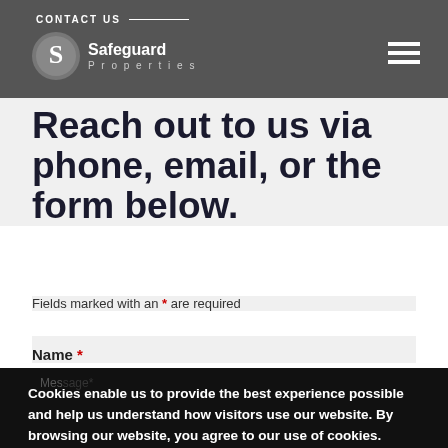CONTACT US
[Figure (logo): Safeguard Properties logo — circular S mark with 'Safeguard Properties' text]
Reach out to us via phone, email, or the form below.
Fields marked with an * are required
Name *
Cookies enable us to provide the best experience possible and help us understand how visitors use our website. By browsing our website, you agree to our use of cookies.
Accept